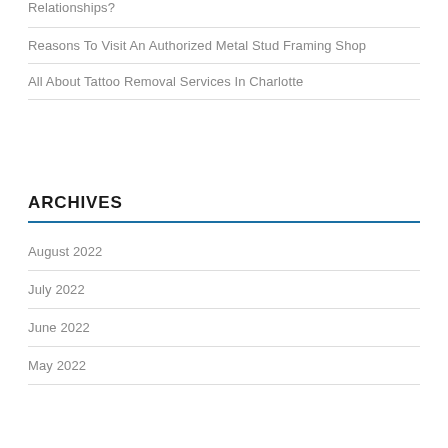Relationships?
Reasons To Visit An Authorized Metal Stud Framing Shop
All About Tattoo Removal Services In Charlotte
ARCHIVES
August 2022
July 2022
June 2022
May 2022